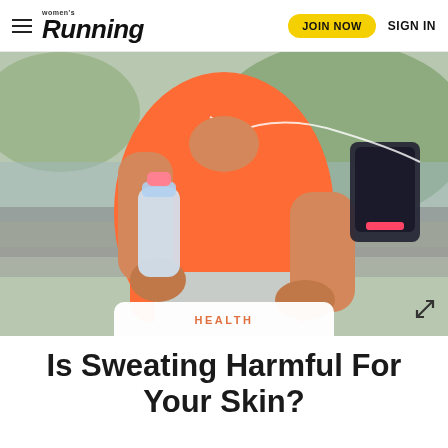Women's Running — JOIN NOW  SIGN IN
[Figure (photo): Woman in orange/coral athletic tank top holding a water bottle, wearing earphones, with a phone armband on her right arm. Background shows a blurred outdoor scene with water and greenery.]
HEALTH
Is Sweating Harmful For Your Skin?